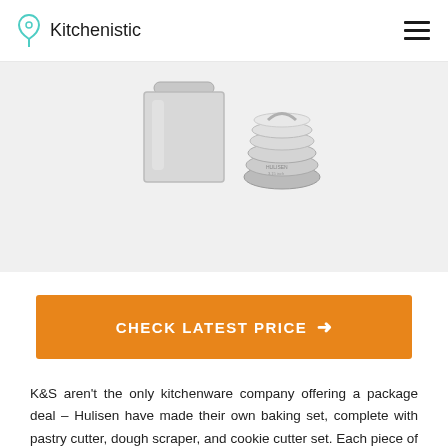Kitchenistic
[Figure (photo): Stainless steel baking set including pastry cutter, dough scraper, and cookie cutter set by Hulisen, shown on a light grey background]
CHECK LATEST PRICE →
K&S aren't the only kitchenware company offering a package deal – Hulisen have made their own baking set, complete with pastry cutter, dough scraper, and cookie cutter set. Each piece of kit is made using FDA approved stainless steel, a great baking material that